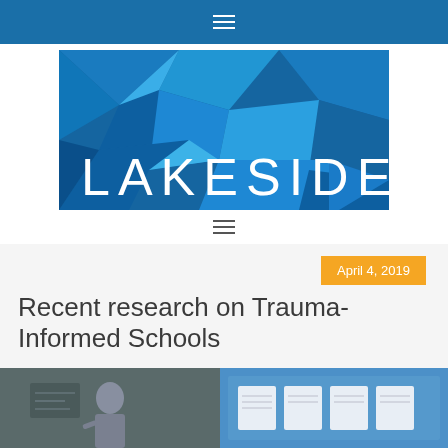≡
[Figure (logo): Lakeside logo with blue geometric polygon background and 'LAKESIDE' text in white]
≡
April 4, 2019
Recent research on Trauma-Informed Schools
[Figure (photo): Two photos side by side: left shows a person at a chalkboard, right shows a blue display board with white cards]